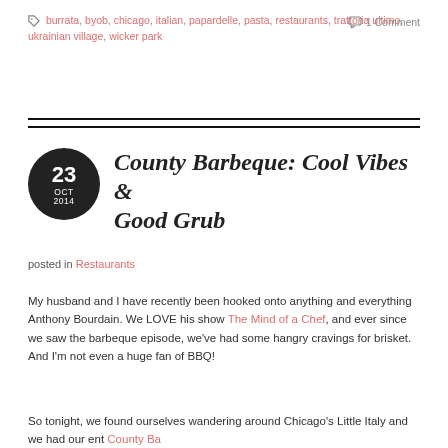burrata, byob, chicago, italian, papardelle, pasta, restaurants, trattoria ultimo, ukrainian village, wicker park
1 Comment
County Barbeque: Cool Vibes & Good Grub
posted in Restaurants
My husband and I have recently been hooked onto anything and everything Anthony Bourdain. We LOVE his show The Mind of a Chef, and ever since we saw the barbeque episode, we've had some hangry cravings for brisket. And I'm not even a huge fan of BBQ!
So tonight, we found ourselves wandering around Chicago's Little Italy and we had our ent County Barbeque somewhere and this...